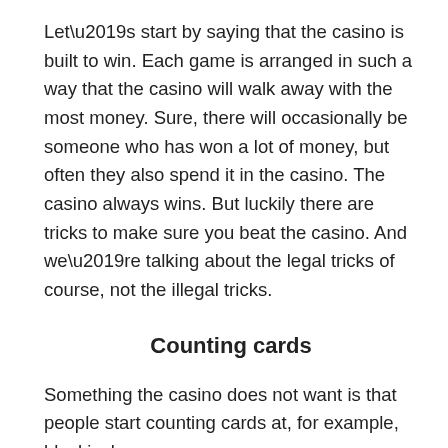Let’s start by saying that the casino is built to win. Each game is arranged in such a way that the casino will walk away with the most money. Sure, there will occasionally be someone who has won a lot of money, but often they also spend it in the casino. The casino always wins. But luckily there are tricks to make sure you beat the casino. And we’re talking about the legal tricks of course, not the illegal tricks.
Counting cards
Something the casino does not want is that people start counting cards at, for example, blackjack
Blackjack concepts